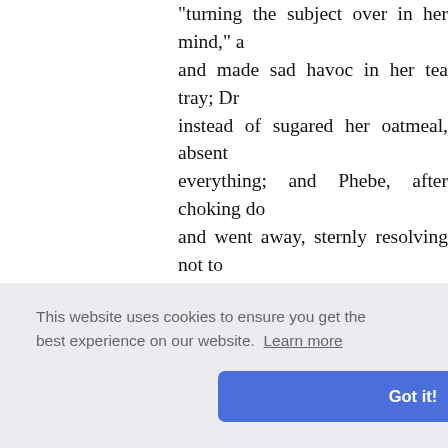"turning the subject over in her mind," and made sad havoc in her tea tray; Dr instead of sugared her oatmeal, absent everything; and Phebe, after choking do and went away, sternly resolving not to
As soon as the door was shut Rose pus over the paper with such an anxious fac
"Uncle, this is a serious matter, and w guardian and I am her sister," began disappointed in me," she continued, "b wise and good to let any worldly pride will you? th gratify ed Rose.
"Gently, gently, child, I don't intend
This website uses cookies to ensure you get the best experience on our website. Learn more
Got it!